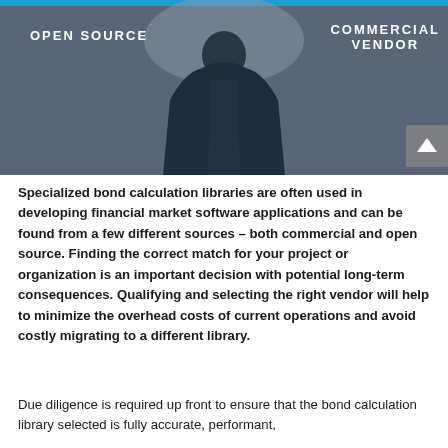[Figure (photo): Photo of a person in a dark suit viewed from behind, with labels 'OPEN SOURCE' on the left and 'COMMERCIAL VENDOR' on the right overlaid in white bold text on a dark background.]
Specialized bond calculation libraries are often used in developing financial market software applications and can be found from a few different sources – both commercial and open source. Finding the correct match for your project or organization is an important decision with potential long-term consequences. Qualifying and selecting the right vendor will help to minimize the overhead costs of current operations and avoid costly migrating to a different library.
Due diligence is required up front to ensure that the bond calculation library selected is fully accurate, performant,